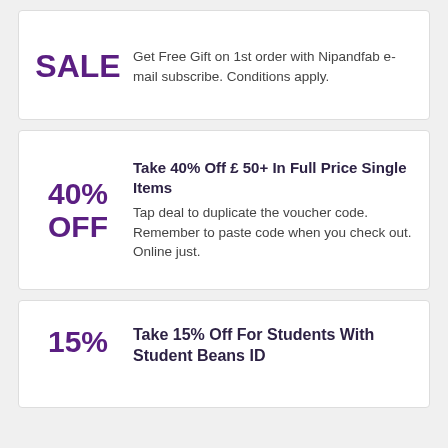SALE
Get Free Gift on 1st order with Nipandfab e-mail subscribe. Conditions apply.
40% OFF
Take 40% Off £ 50+ In Full Price Single Items
Tap deal to duplicate the voucher code. Remember to paste code when you check out. Online just.
15%
Take 15% Off For Students With Student Beans ID